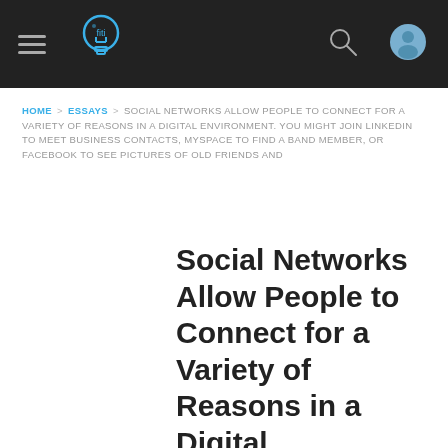[Figure (screenshot): Dark navigation bar with hamburger menu icon on left, a light bulb logo icon in center-left, search icon and user profile icon on right]
HOME > ESSAYS > SOCIAL NETWORKS ALLOW PEOPLE TO CONNECT FOR A VARIETY OF REASONS IN A DIGITAL ENVIRONMENT. YOU MIGHT JOIN LINKEDIN TO MEET BUSINESS CONTACTS, MYSPACE TO FIND A BAND MEMBER, OR FACEBOOK TO SEE PICTURES OF OLD FRIENDS AND
Social Networks Allow People to Connect for a Variety of Reasons in a Digital Environment. You Might Join Linkedin to Meet